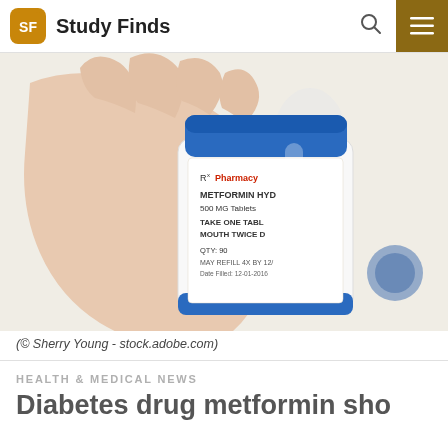Study Finds
[Figure (photo): Hand holding a prescription pill bottle labeled 'Rx Pharmacy METFORMIN HYDRO 500 MG Tablets TAKE ONE TABLET BY MOUTH TWICE DA… QTY: 90 MAY REFILL 4X BY 12/... Date Filled: 12-01-2016', with blurred pharmacy bottles in background.]
(© Sherry Young - stock.adobe.com)
HEALTH & MEDICAL NEWS
Diabetes drug metformin sho…